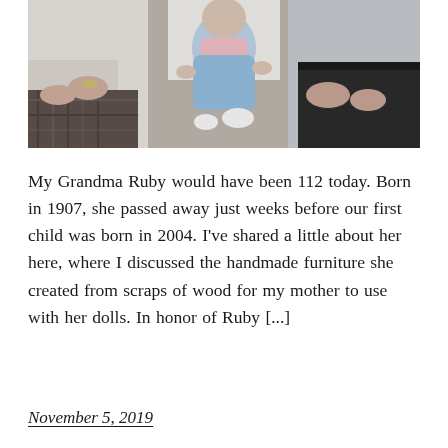[Figure (photo): Old photograph showing a baby in blue clothing being held by adults. The baby appears to be sitting on someone's lap. Multiple adults are visible on either side.]
My Grandma Ruby would have been 112 today. Born in 1907, she passed away just weeks before our first child was born in 2004. I've shared a little about her here, where I discussed the handmade furniture she created from scraps of wood for my mother to use with her dolls. In honor of Ruby [...]
November 5, 2019